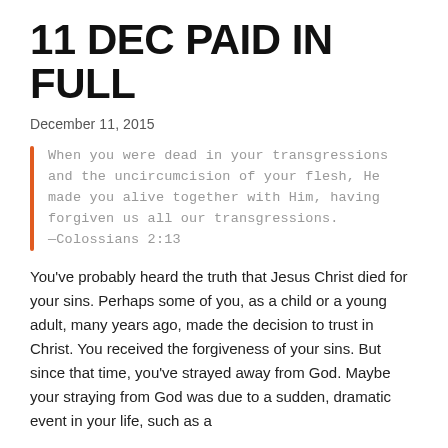11 DEC PAID IN FULL
December 11, 2015
When you were dead in your transgressions and the uncircumcision of your flesh, He made you alive together with Him, having forgiven us all our transgressions. —Colossians 2:13
You've probably heard the truth that Jesus Christ died for your sins. Perhaps some of you, as a child or a young adult, many years ago, made the decision to trust in Christ. You received the forgiveness of your sins. But since that time, you've strayed away from God. Maybe your straying from God was due to a sudden, dramatic event in your life, such as a